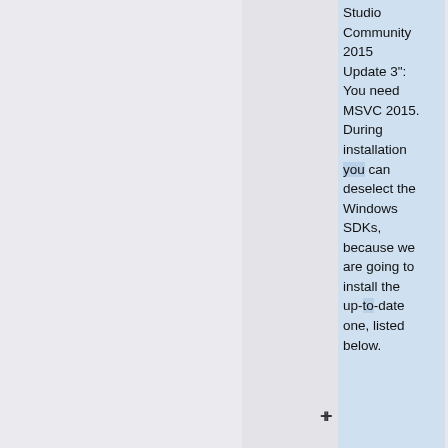Studio Community 2015 Update 3": You need MSVC 2015. During installation you can deselect the Windows SDKs, because we are going to install the up-to-date one, listed below.
* [https://www.microsoft.com/en-